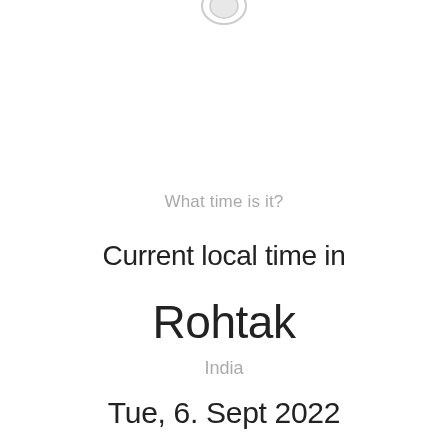[Figure (other): Partial icon/logo at the top center of the page, cropped at the top edge]
What time is it?
Current local time in
Rohtak
India
Tue, 6. Sept 2022